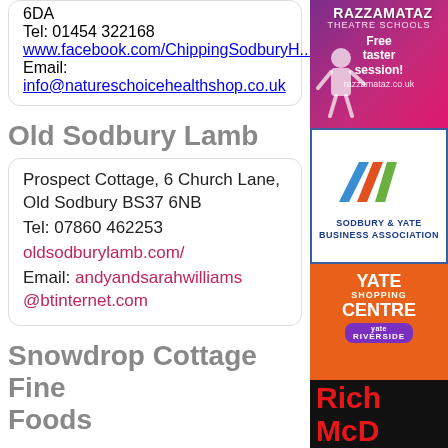6DA
Tel: 01454 322168
www.facebook.com/ChippingSodburyH...
Email: info@natureschoicehealthshop.co.uk
Old Sodbury Lamb
Prospect Cottage, 6 Church Lane, Old Sodbury BS37 6NB
Tel: 07860 462253
oldsodburylamb.com/
Email: andyandsarahwilliams@btinternet.com
Snowdrop Cottage Fine Foods
[Figure (photo): Razzamataz Theatre Schools advertisement with pink/purple background, child dancer, Free taster session offer]
[Figure (logo): Sodbury & Yate Business Association logo with blue, red and green arrow shapes]
[Figure (infographic): Yate Shopping Centre orange advertisement with Yate Riverside purple logo]
[Figure (infographic): Rich McD advertisement with red text on black background]